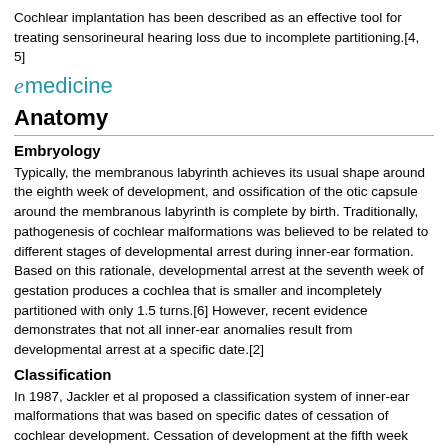Cochlear implantation has been described as an effective tool for treating sensorineural hearing loss due to incomplete partitioning.[4, 5]
[Figure (logo): eMedicine logo with stylized italic 'e' in teal and 'medicine' text in teal]
Anatomy
Embryology
Typically, the membranous labyrinth achieves its usual shape around the eighth week of development, and ossification of the otic capsule around the membranous labyrinth is complete by birth. Traditionally, pathogenesis of cochlear malformations was believed to be related to different stages of developmental arrest during inner-ear formation. Based on this rationale, developmental arrest at the seventh week of gestation produces a cochlea that is smaller and incompletely partitioned with only 1.5 turns.[6] However, recent evidence demonstrates that not all inner-ear anomalies result from developmental arrest at a specific date.[2]
Classification
In 1987, Jackler et al proposed a classification system of inner-ear malformations that was based on specific dates of cessation of cochlear development. Cessation of development at the fifth week caused cochlear agenesis, cessation at the sixth week produced cochlear hypoplasia, and developmental cessation at the seventh week produced a small cochlea that was incompletely partitioned with resultant 1.5 turns.[6] This classification system was created using polytomography, a form of imaging that has now